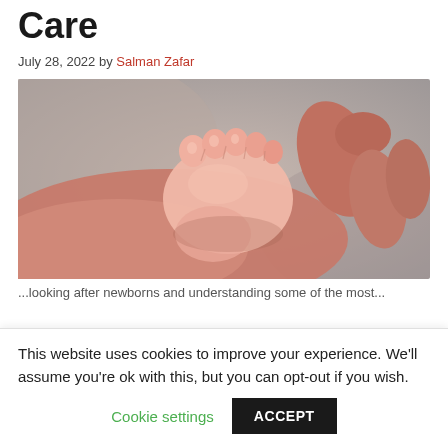Care
July 28, 2022 by Salman Zafar
[Figure (photo): Close-up photo of an adult hand gently holding a baby's tiny foot, showing delicate infant toes and fingers against a soft blurred background.]
...looking after newborns and understanding some of the most...
This website uses cookies to improve your experience. We'll assume you're ok with this, but you can opt-out if you wish.
Cookie settings   ACCEPT